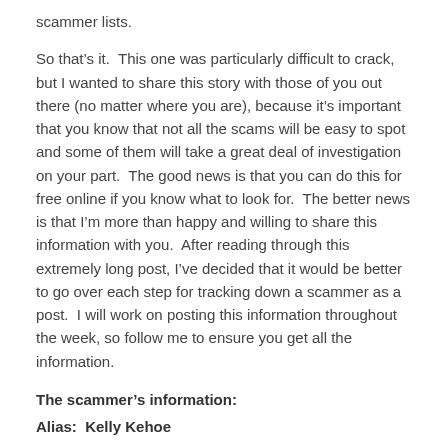scammer lists.
So that’s it.  This one was particularly difficult to crack, but I wanted to share this story with those of you out there (no matter where you are), because it’s important that you know that not all the scams will be easy to spot and some of them will take a great deal of investigation on your part.  The good news is that you can do this for free online if you know what to look for.  The better news is that I’m more than happy and willing to share this information with you.  After reading through this extremely long post, I’ve decided that it would be better to go over each step for tracking down a scammer as a post.  I will work on posting this information throughout the week, so follow me to ensure you get all the information.
The scammer’s information:
Alias:  Kelly Kehoe